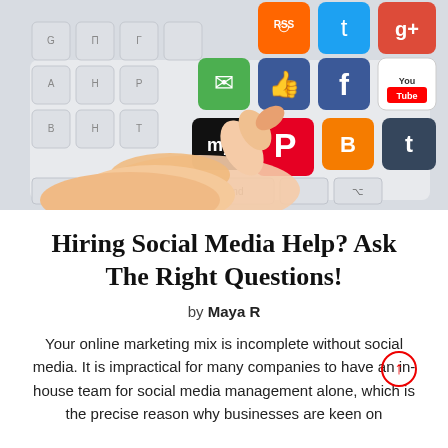[Figure (photo): A hand pressing a Pinterest key on a keyboard covered with social media app icons including Twitter, Facebook, YouTube, Instagram, Google+, Blogger, Tumblr, MySpace, and RSS feed icons.]
Hiring Social Media Help? Ask The Right Questions!
by Maya R
Your online marketing mix is incomplete without social media. It is impractical for many companies to have an in-house team for social media management alone, which is the precise reason why businesses are keen on